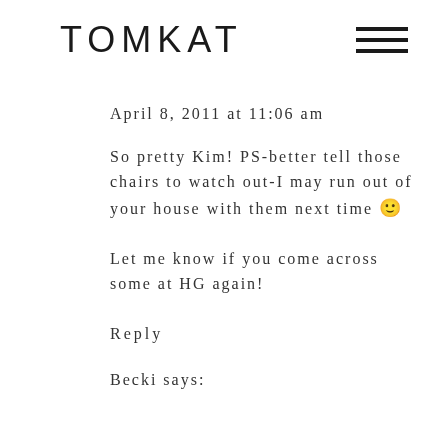TOMKAT
April 8, 2011 at 11:06 am
So pretty Kim! PS-better tell those chairs to watch out-I may run out of your house with them next time 🙂 Let me know if you come across some at HG again!
Reply
Becki says: